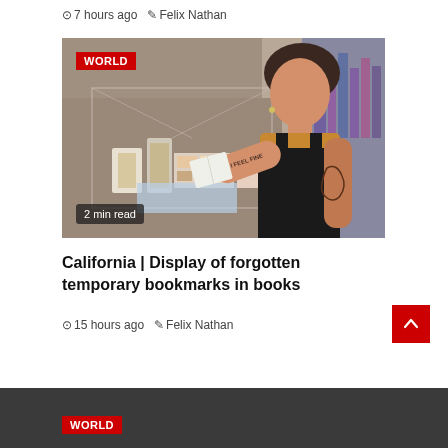7 hours ago   Felix Nathan
[Figure (photo): A tattooed woman in an orange shirt and black overalls looks at a small booklet at a library display case containing old bookmarks and artifacts. She has a tattoo reading 'AND I FEEL FINE'. A 'WORLD' red badge is shown in the top-left corner. '2 min read' badge shown at bottom-left.]
California | Display of forgotten temporary bookmarks in books
15 hours ago   Felix Nathan
[Figure (photo): Bottom of page showing dark footer area with a red WORLD badge]